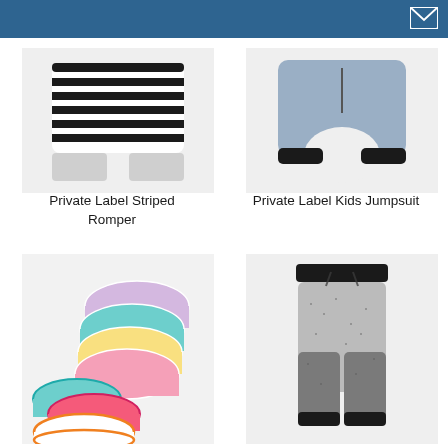[Figure (photo): Black and white horizontally striped kids romper/shorts on light grey background]
[Figure (photo): Grey kids jumpsuit/harem pants with black cuffs on light grey background]
Private Label Striped Romper
Private Label Kids Jumpsuit
[Figure (photo): Colorful girls underwear/briefs set with unicorn print in multiple colors including teal, yellow, pink, purple, and orange]
[Figure (photo): Heathered grey marled kids jogger sweatpants with black waistband drawstring and black cuffs]